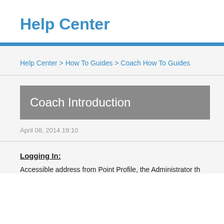Help Center
Help Center > How To Guides > Coach How To Guides
Coach Introduction
April 08, 2014 19:10
Logging In:
Accessible address from Point Profile, the Administrator th...